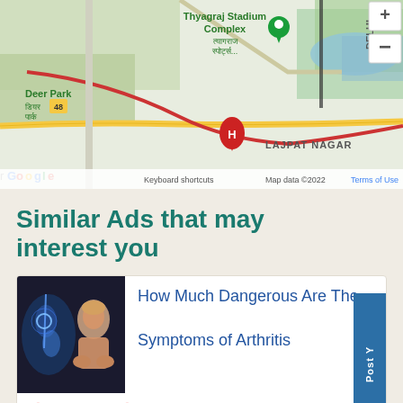[Figure (map): Google Maps screenshot showing area around Lajpat Nagar, New Delhi with Thyagraj Stadium Complex, Deer Park, and location pins. Includes Google branding, keyboard shortcuts, map data ©2022, Terms of Use, and zoom controls.]
Similar Ads that may interest you
[Figure (infographic): Ad card with arthritis image on left (showing a person with joint pain and a glowing blue skeleton), title 'How Much Dangerous Are The Symptoms of Arthritis', location pins for New Delhi and Delhi, description text, and timestamp.]
How Much Dangerous Are The Symptoms of Arthritis
New Delhi  Delhi
Arthritis symptoms has many, let us start to know name ot all arthritis symptoms...
2 Hours ago